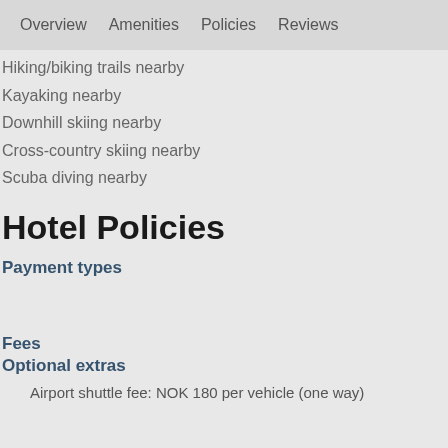Overview  Amenities  Policies  Reviews
Hiking/biking trails nearby
Kayaking nearby
Downhill skiing nearby
Cross-country skiing nearby
Scuba diving nearby
Hotel Policies
Payment types
Fees
Optional extras
Airport shuttle fee: NOK 180 per vehicle (one way)